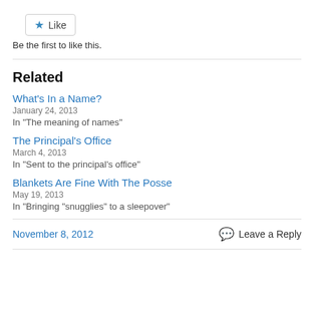[Figure (other): Like button with star icon]
Be the first to like this.
Related
What's In a Name?
January 24, 2013
In "The meaning of names"
The Principal's Office
March 4, 2013
In "Sent to the principal's office"
Blankets Are Fine With The Posse
May 19, 2013
In "Bringing "snugglies" to a sleepover"
November 8, 2012
Leave a Reply